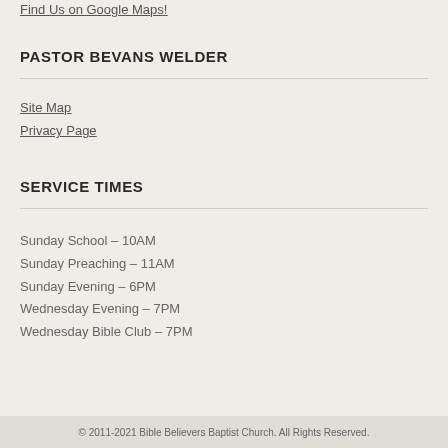Find Us on Google Maps!
PASTOR BEVANS WELDER
Site Map
Privacy Page
SERVICE TIMES
Sunday School – 10AM
Sunday Preaching – 11AM
Sunday Evening – 6PM
Wednesday Evening – 7PM
Wednesday Bible Club – 7PM
© 2011-2021 Bible Believers Baptist Church. All Rights Reserved.